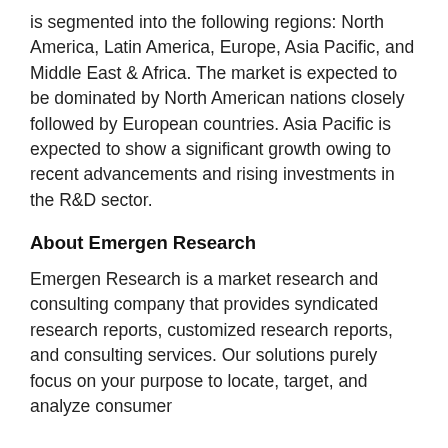is segmented into the following regions: North America, Latin America, Europe, Asia Pacific, and Middle East & Africa. The market is expected to be dominated by North American nations closely followed by European countries. Asia Pacific is expected to show a significant growth owing to recent advancements and rising investments in the R&D sector.
About Emergen Research
Emergen Research is a market research and consulting company that provides syndicated research reports, customized research reports, and consulting services. Our solutions purely focus on your purpose to locate, target, and analyze consumer